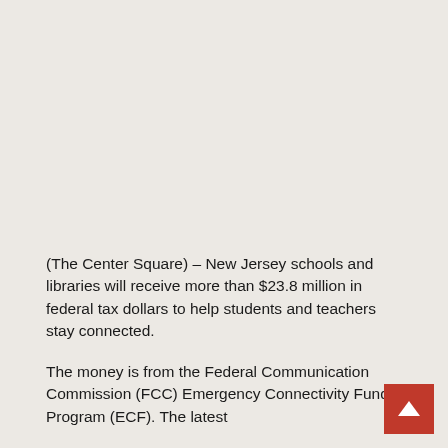(The Center Square) – New Jersey schools and libraries will receive more than $23.8 million in federal tax dollars to help students and teachers stay connected.
The money is from the Federal Communication Commission (FCC) Emergency Connectivity Fund Program (ECF). The latest